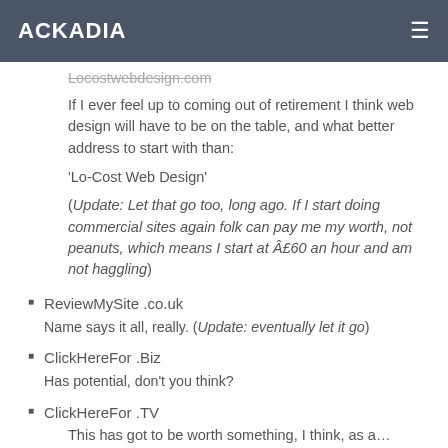ACKADIA
Locostwebdesign.com
If I ever feel up to coming out of retirement I think web design will have to be on the table, and what better address to start with than:
'Lo-Cost Web Design'
(Update: Let that go too, long ago. If I start doing commercial sites again folk can pay me my worth, not peanuts, which means I start at £60 an hour and am not haggling)
ReviewMySite .co.uk
Name says it all, really. (Update: eventually let it go)
ClickHereFor .Biz
Has potential, don't you think?
ClickHereFor .TV
This has got to be worth something, I think, as a...